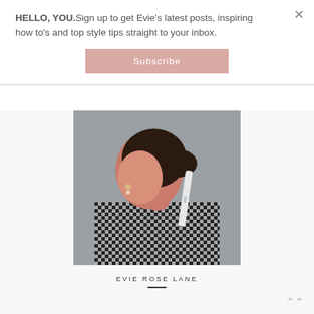HELLO, YOU.Sign up to get Evie's latest posts, inspiring how to's and top style tips straight to your inbox.
Subscribe
[Figure (photo): Profile photo of a young woman viewed from behind/side, wearing a houndstooth jacket and a Dior ribbon in her hair, with pearl earrings, against a grey background.]
EVIE ROSE LANE